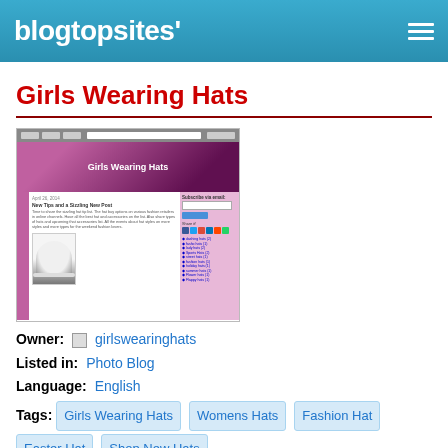blogtopsites'
Girls Wearing Hats
[Figure (screenshot): Screenshot thumbnail of the Girls Wearing Hats blog, showing a pink-themed blog with a banner photo of a woman in a white hat, blog post text, and sidebar with subscription form.]
Owner: girlswearinghats
Listed in: Photo Blog
Language: English
Tags: Girls Wearing Hats  Womens Hats  Fashion Hat  Easter Hat  Shop New Hats
Girls Wearing Hats is simply that. You'll find pictures and information on every style of hat that a female